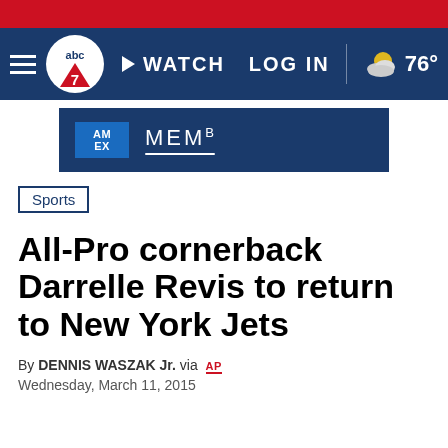ABC7 navigation bar with WATCH, LOG IN, 76° weather
[Figure (screenshot): American Express MEMB advertisement banner]
Sports
All-Pro cornerback Darrelle Revis to return to New York Jets
By DENNIS WASZAK Jr. via AP
Wednesday, March 11, 2015